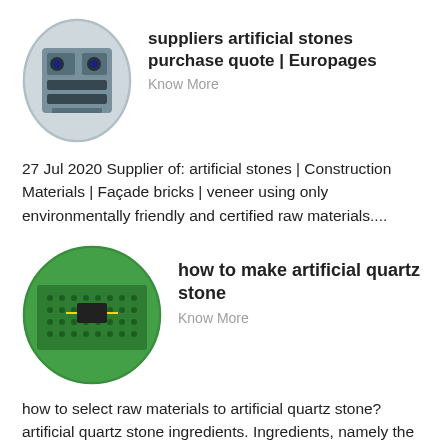[Figure (photo): Oval thumbnail showing industrial machinery/motors in a factory setting]
suppliers artificial stones purchase quote | Europages
Know More
27 Jul 2020 Supplier of: artificial stones | Construction Materials | Façade bricks | veneer using only environmentally friendly and certified raw materials....
[Figure (photo): Oval thumbnail showing a green circuit board up close]
how to make artificial quartz stone
Know More
how to select raw materials to artificial quartz stone? artificial quartz stone ingredients. Ingredients, namely the prepared according to the formula ratio of raw...